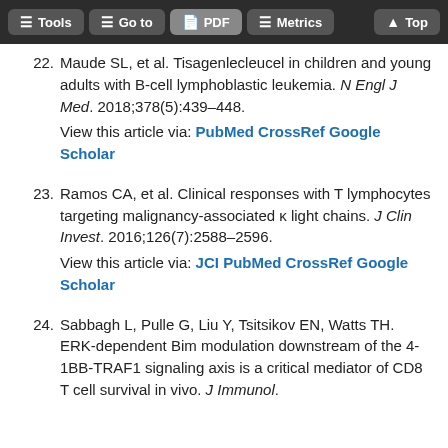Tools | Go to | PDF | Metrics | Top
22. Maude SL, et al. Tisagenlecleucel in children and young adults with B-cell lymphoblastic leukemia. N Engl J Med. 2018;378(5):439–448.
View this article via: PubMed CrossRef Google Scholar
23. Ramos CA, et al. Clinical responses with T lymphocytes targeting malignancy-associated κ light chains. J Clin Invest. 2016;126(7):2588–2596.
View this article via: JCI PubMed CrossRef Google Scholar
24. Sabbagh L, Pulle G, Liu Y, Tsitsikov EN, Watts TH. ERK-dependent Bim modulation downstream of the 4-1BB-TRAF1 signaling axis is a critical mediator of CD8 T cell survival in vivo. J Immunol.